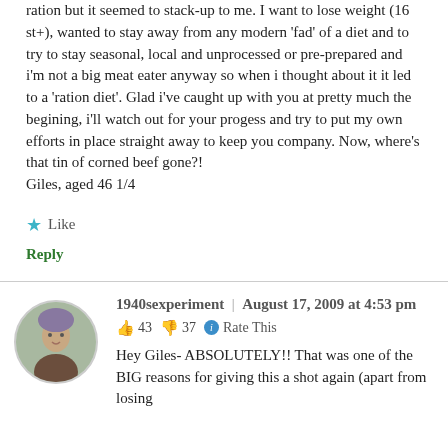ration but it seemed to stack-up to me. I want to lose weight (16 st+), wanted to stay away from any modern 'fad' of a diet and to try to stay seasonal, local and unprocessed or pre-prepared and i'm not a big meat eater anyway so when i thought about it it led to a 'ration diet'. Glad i've caught up with you at pretty much the begining, i'll watch out for your progess and try to put my own efforts in place straight away to keep you company. Now, where's that tin of corned beef gone?!
Giles, aged 46 1/4
Like
Reply
1940sexperiment | August 17, 2009 at 4:53 pm
43  37  Rate This
Hey Giles- ABSOLUTELY!! That was one of the BIG reasons for giving this a shot again (apart from losing